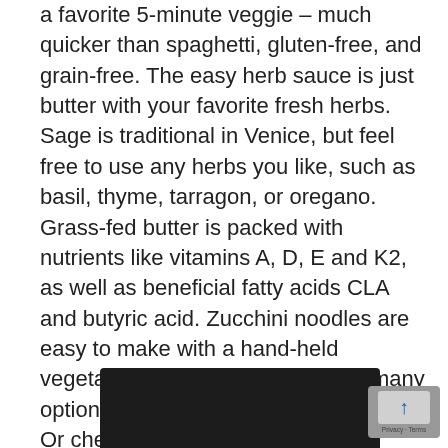a favorite 5-minute veggie – much quicker than spaghetti, gluten-free, and grain-free. The easy herb sauce is just butter with your favorite fresh herbs. Sage is traditional in Venice, but feel free to use any herbs you like, such as basil, thyme, tarragon, or oregano. Grass-fed butter is packed with nutrients like vitamins A, D, E and K2, as well as beneficial fatty acids CLA and butyric acid. Zucchini noodles are easy to make with a hand-held vegetable spiralizer. There are so many options. Look for one in stainless steel. Or check out Kycen Spiral Slicer, Spiroslicer, Gogogu, and Kitchen Supreme. Look for organic zucchini rather than the tasteless GMO varieties. These Zoodles taste best piping hot right off the stove. Serves 2 people.
[Figure (photo): Bottom portion of a dark-colored kitchen appliance or spiralizer, partially visible. A reCAPTCHA privacy badge is overlaid in the bottom-right corner.]